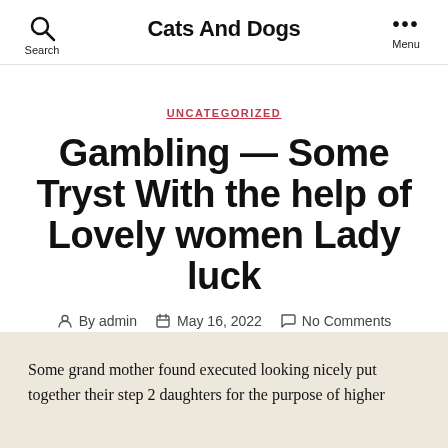Cats And Dogs
UNCATEGORIZED
Gambling — Some Tryst With the help of Lovely women Lady luck
By admin  May 16, 2022  No Comments
Some grand mother found executed looking nicely put together their step 2 daughters for the purpose of higher